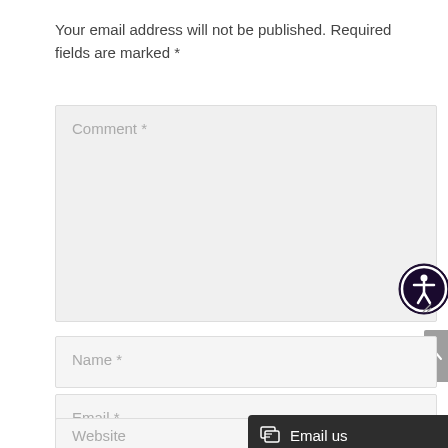Your email address will not be published. Required fields are marked *
[Figure (screenshot): Comment text area form field with placeholder text 'Comment *' and accessibility icon overlay]
[Figure (screenshot): Name input field with placeholder text 'Name *']
[Figure (screenshot): Email input field with placeholder text 'Email *']
[Figure (screenshot): Website input field with placeholder text 'Website' partially visible, with 'Email us' chat button overlay]